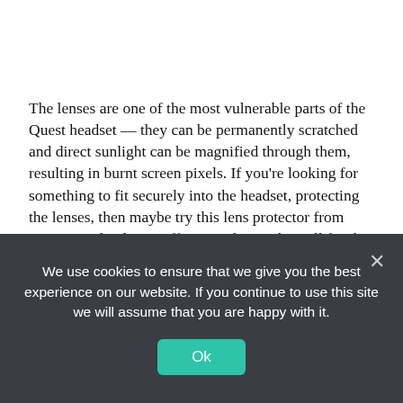The lenses are one of the most vulnerable parts of the Quest headset — they can be permanently scratched and direct sunlight can be magnified through them, resulting in burnt screen pixels. If you're looking for something to fit securely into the headset, protecting the lenses, then maybe try this lens protector from Orzero. UploadVR staff reported it works well for the Quest (and even other headsets) and protects the lenses from dust. You may have to turn the headset off fully when not in use, or change its
We use cookies to ensure that we give you the best experience on our website. If you continue to use this site we will assume that you are happy with it.